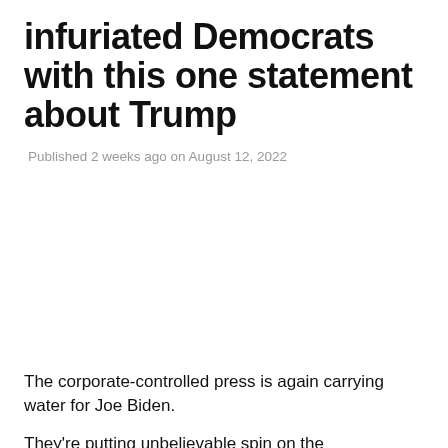infuriated Democrats with this one statement about Trump
Published 2 weeks ago on August 12, 2022
[Figure (photo): Large image placeholder (white space) — image content not visible in this crop]
The corporate-controlled press is again carrying water for Joe Biden.
They're putting unbelievable spin on the unprecedented